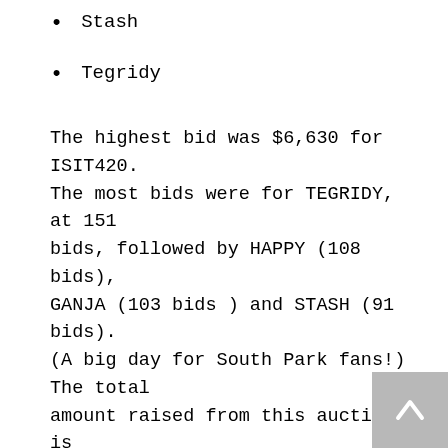Stash
Tegridy
The highest bid was $6,630 for ISIT420. The most bids were for TEGRIDY, at 151 bids, followed by HAPPY (108 bids), GANJA (103 bids ) and STASH (91 bids). (A big day for South Park fans!) The total amount raised from this auction is $45,410!
END NOTE:
The Reefer Madness Crowd wants us to be afraid of cannabis, but The State of Colorado has shown real creativity and leadership in its cannabis tax strategies. All residents of — kids included